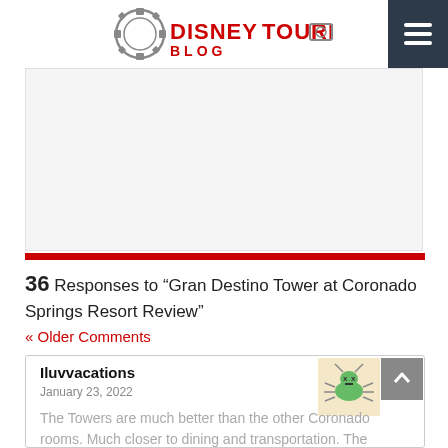DISNEYTOURISTBLOG
[Figure (other): Advertisement placeholder area]
36 Responses to “Gran Destino Tower at Coronado Springs Resort Review”
« Older Comments
Iluvvacations
January 23, 2022
The Towers are much better than the other Coronado rooms. Much closer to dining and transportation. The